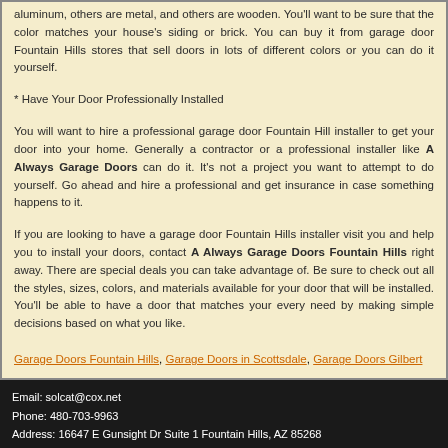aluminum, others are metal, and others are wooden. You'll want to be sure that the color matches your house's siding or brick. You can buy it from garage door Fountain Hills stores that sell doors in lots of different colors or you can do it yourself.
* Have Your Door Professionally Installed
You will want to hire a professional garage door Fountain Hill installer to get your door into your home. Generally a contractor or a professional installer like A Always Garage Doors can do it. It's not a project you want to attempt to do yourself. Go ahead and hire a professional and get insurance in case something happens to it.
If you are looking to have a garage door Fountain Hills installer visit you and help you to install your doors, contact A Always Garage Doors Fountain Hills right away. There are special deals you can take advantage of. Be sure to check out all the styles, sizes, colors, and materials available for your door that will be installed. You'll be able to have a door that matches your every need by making simple decisions based on what you like.
Garage Doors Fountain Hills, Garage Doors in Scottsdale, Garage Doors Gilbert
Email: solcat@cox.net
Phone: 480-703-9963
Address: 16647 E Gunsight Dr Suite 1 Fountain Hills, AZ 85268